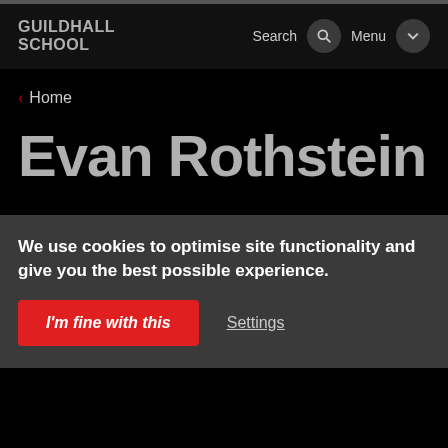GUILDHALL SCHOOL
< Home
Evan Rothstein
We use cookies to optimise site functionality and give you the best possible experience.
I'm fine with this
Settings